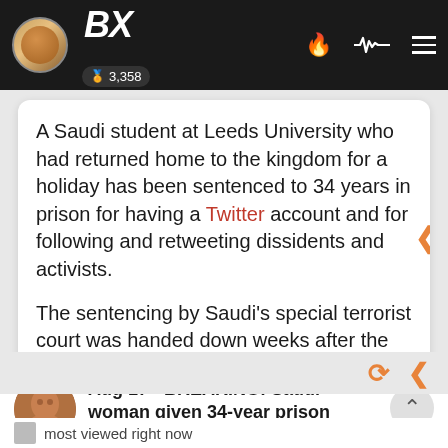BX | 3,358
A Saudi student at Leeds University who had returned home to the kingdom for a holiday has been sentenced to 34 years in prison for having a Twitter account and for following and retweeting dissidents and activists.

The sentencing by Saudi's special terrorist court was handed down weeks after the US president
Aug 17 - BREAKING: Saudi woman given 34-year prison sentence for using Twitter.. @news | 32 replies | 21 min ago 👥 15 | by theFREAK | 15 hr
most viewed right now